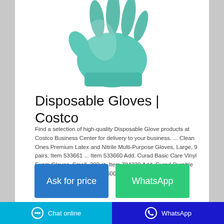[Figure (photo): A pair of teal/green disposable gloves photographed against a white background, partially cropped at top.]
Disposable Gloves | Costco
Find a selection of high-quality Disposable Glove products at Costco Business Center for delivery to your business. ... Clean Ones Premium Latex and Nitrile Multi-Purpose Gloves, Large, 9 pairs. Item 533661 ... Item 533660 Add. Curad Basic Care Vinyl Exam Gloves, Small, 300 ct. Item 784230 Add. Curad Durable Nitrile Exam Gloves, Large, 600 ct ...